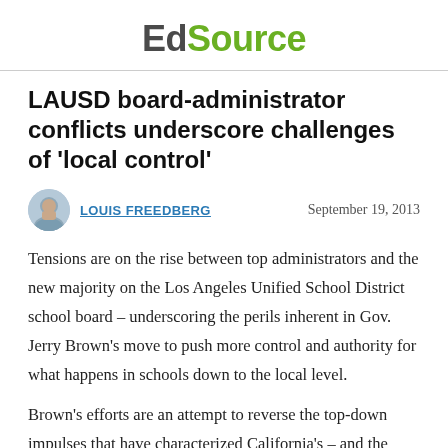EdSource
LAUSD board-administrator conflicts underscore challenges of 'local control'
LOUIS FREEDBERG   September 19, 2013
Tensions are on the rise between top administrators and the new majority on the Los Angeles Unified School District school board – underscoring the perils inherent in Gov. Jerry Brown's move to push more control and authority for what happens in schools down to the local level.
Brown's efforts are an attempt to reverse the top-down impulses that have characterized California's – and the